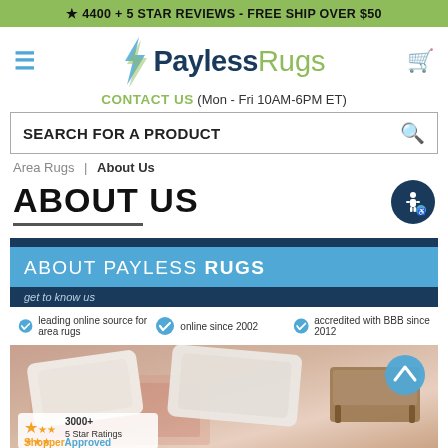★ 4400 + 5 STAR REVIEWS - FREE SHIP OVER $50
[Figure (logo): Payless Rugs logo with lightning bolt icon, hamburger menu and cart icon]
CONTACT US (Mon - Fri 10AM-6PM ET)
SEARCH FOR A PRODUCT
Area Rugs | About Us
ABOUT US
[Figure (infographic): About Payless Rugs banner with dark navy header, blue section reading ABOUT PAYLESS RUGS, subheader get to know us, trust badges: leading online source for area rugs, online since 2002, accredited with BBB since 2012]
[Figure (photo): Area rug photo with white pillows and wooden bench, Shopper Approved badge with 3000+ 5 Star Ratings, back to top button]